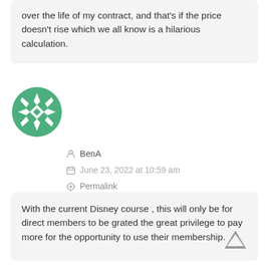over the life of my contract, and that's if the price doesn't rise which we all know is a hilarious calculation.
[Figure (illustration): Green and white geometric snowflake/star avatar icon for user BenA]
BenA
June 23, 2022 at 10:59 am
Permalink
With the current Disney course , this will only be for direct members to be grated the great privilege to pay more for the opportunity to use their membership.